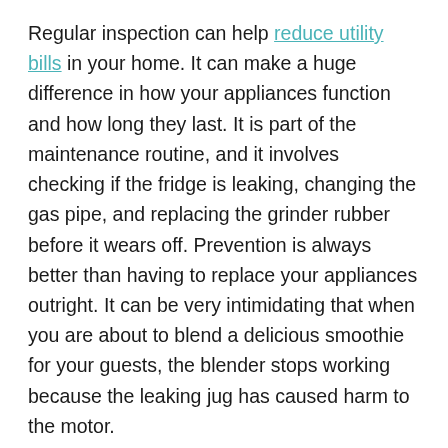Regular inspection can help reduce utility bills in your home. It can make a huge difference in how your appliances function and how long they last. It is part of the maintenance routine, and it involves checking if the fridge is leaking, changing the gas pipe, and replacing the grinder rubber before it wears off. Prevention is always better than having to replace your appliances outright. It can be very intimidating that when you are about to blend a delicious smoothie for your guests, the blender stops working because the leaking jug has caused harm to the motor.
As you can tell from above, maintenance is an ongoing process. It involves keeping tabs on your kitchen